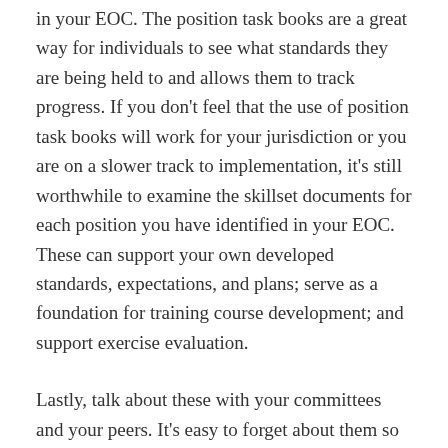in your EOC.  The position task books are a great way for individuals to see what standards they are being held to and allows them to track progress.  If you don't feel that the use of position task books will work for your jurisdiction or you are on a slower track to implementation, it's still worthwhile to examine the skillset documents for each position you have identified in your EOC.  These can support your own developed standards, expectations, and plans; serve as a foundation for training course development; and support exercise evaluation.
Lastly, talk about these with your committees and your peers.  It's easy to forget about them so keep these visible.  These documents offer an abundance of solid guidance which can strongly support your operational coordination.